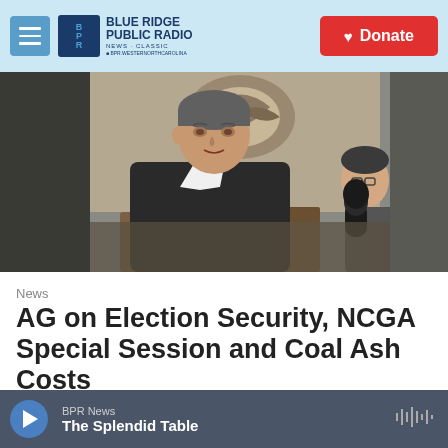Blue Ridge Public Radio — Donate
[Figure (photo): A man in a dark suit speaking, being interviewed with a microphone, inside an ornate building. Two other people visible in background.]
News
AG on Election Security, NCGA Special Session and Coal Ash Costs
BPR News — The Splendid Table